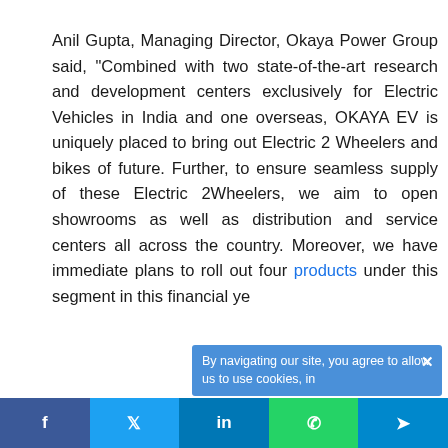Anil Gupta, Managing Director, Okaya Power Group said, "Combined with two state-of-the-art research and development centers exclusively for Electric Vehicles in India and one overseas, OKAYA EV is uniquely placed to bring out Electric 2 Wheelers and bikes of future. Further, to ensure seamless supply of these Electric 2Wheelers, we aim to open showrooms as well as distribution and service centers all across the country. Moreover, we have immediate plans to roll out four products under this segment in this financial ye...
By navigating our site, you agree to allow us to use cookies, in...